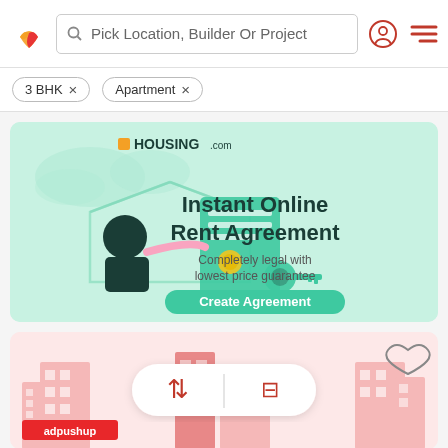Pick Location, Builder Or Project
3 BHK ×
Apartment ×
[Figure (screenshot): Housing.com advertisement banner for Instant Online Rent Agreement. Green background with illustration of person signing document with keys. Text: Instant Online Rent Agreement. Completely legal with lowest price guarantee. Create Agreement button.]
[Figure (screenshot): Bottom card area showing city buildings illustration in pink/red tones, a sort and filter button pill overlay, heart/wishlist icon, and adpushup advertisement label.]